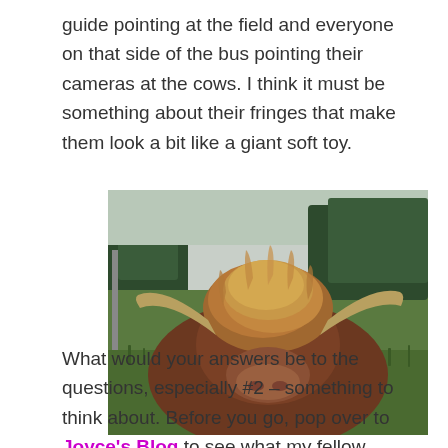guide pointing at the field and everyone on that side of the bus pointing their cameras at the cows. I think it must be something about their fringes that make them look a bit like a giant soft toy.
[Figure (photo): Close-up photo of a Highland cow with long reddish-brown shaggy hair covering its face, wide curved horns, set against a green grassy field with trees in the background.]
What would your answers be to the questions, especially #2 – something to think about. Before you go, pop over to Joyce's Blog to see what my fellow bloggers